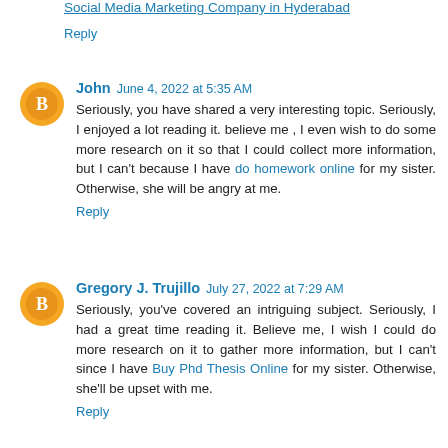Social Media Marketing Company in Hyderabad
Reply
John  June 4, 2022 at 5:35 AM
Seriously, you have shared a very interesting topic. Seriously, I enjoyed a lot reading it. believe me , I even wish to do some more research on it so that I could collect more information, but I can't because I have do homework online for my sister. Otherwise, she will be angry at me.
Reply
Gregory J. Trujillo  July 27, 2022 at 7:29 AM
Seriously, you've covered an intriguing subject. Seriously, I had a great time reading it. Believe me, I wish I could do more research on it to gather more information, but I can't since I have Buy Phd Thesis Online for my sister. Otherwise, she'll be upset with me.
Reply